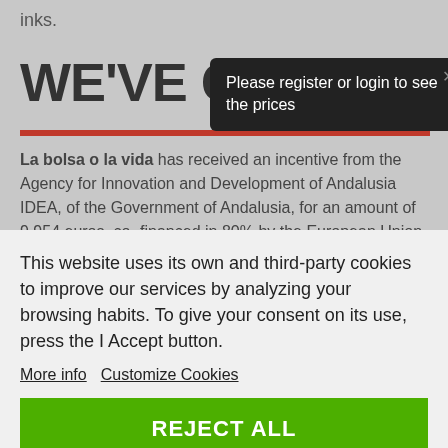inks.
WE'VE GOT H
Please register or login to see the prices
La bolsa o la vida has received an incentive from the Agency for Innovation and Development of Andalusia IDEA, of the Government of Andalusia, for an amount of 9,954 euros, co-financed in 80% by the European Union through the European
This website uses its own and third-party cookies to improve our services by analyzing your browsing habits. To give your consent on its use, press the I Accept button.
More info   Customize Cookies
REJECT ALL
ACCEPT